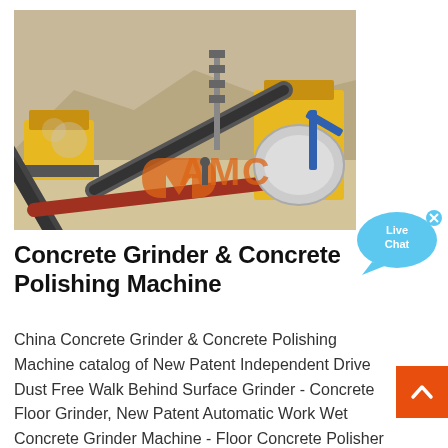[Figure (photo): Outdoor mining/crushing plant with yellow conveyor belts, heavy machinery, rocky terrain, orange AMC logo watermark overlay]
[Figure (illustration): Live Chat speech bubble icon in light blue with 'Live Chat' text and a small x close button]
Concrete Grinder & Concrete Polishing Machine
China Concrete Grinder & Concrete Polishing Machine catalog of New Patent Independent Drive Dust Free Walk Behind Surface Grinder - Concrete Floor Grinder, New Patent Automatic Work Wet Concrete Grinder Machine - Floor Concrete Polisher Machine provided by China